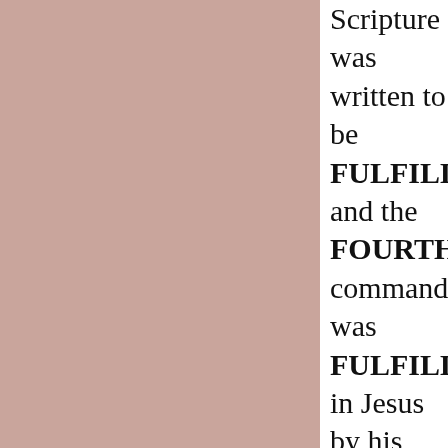[Figure (other): Large mauve/dusty rose colored background panel occupying the left portion of the page]
Scripture was written to be FULFILLED and the FOURTH commandment was FULFILLED in Jesus by his becoming our TRUE